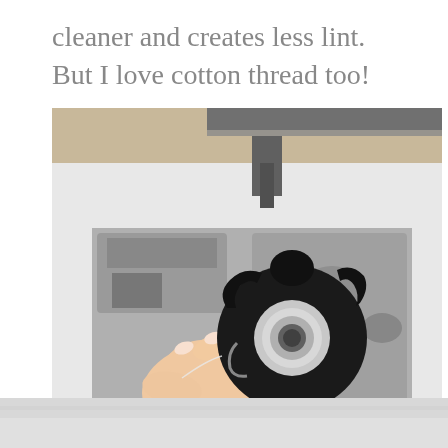cleaner and creates less lint. But I love cotton thread too!
[Figure (photo): A hand holding a sewing machine bobbin case (black, circular, with metal center) against a blurred background of a sewing machine's inner mechanisms in black and white.]